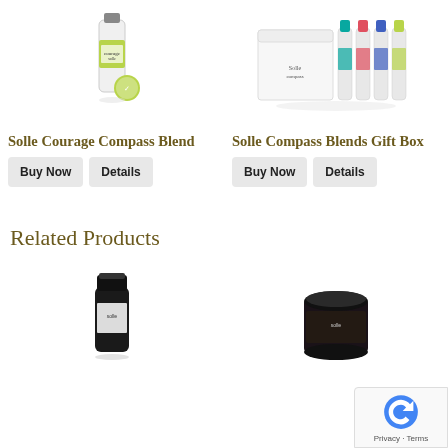[Figure (photo): Product image of Solle Courage essential oil bottle with green label and logo badge]
[Figure (photo): Product image of Solle Compass Blends Gift Box showing a white gift box with multiple roller bottle blends]
Solle Courage Compass Blend
Solle Compass Blends Gift Box
Buy Now
Details
Buy Now
Details
Related Products
[Figure (photo): Related product image of a dark glass essential oil bottle with black cap]
[Figure (photo): Related product image of a dark supplement jar with black lid]